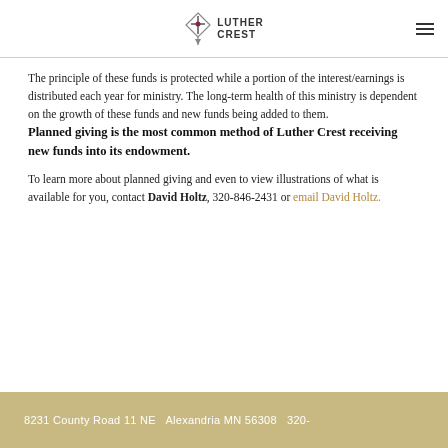Luther Crest logo and navigation
The principle of these funds is protected while a portion of the interest/earnings is distributed each year for ministry. The long-term health of this ministry is dependent on the growth of these funds and new funds being added to them. Planned giving is the most common method of Luther Crest receiving new funds into its endowment.
To learn more about planned giving and even to view illustrations of what is available for you, contact David Holtz, 320-846-2431 or email David Holtz.
8231 County Road 11 NE  Alexandria MN 56308  320-